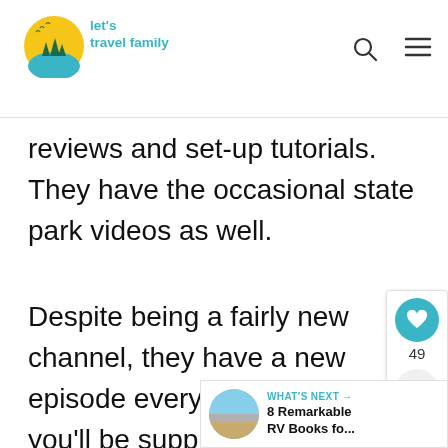let's travel family
reviews and set-up tutorials. They have the occasional state park videos as well.
Despite being a fairly new channel, they have a new episode every week so you'll be supplied with good content consistently.
[Figure (other): Floating action buttons: heart icon with count 49, and share icon]
[Figure (other): WHAT'S NEXT banner with thumbnail image and text '8 Remarkable RV Books fo...']